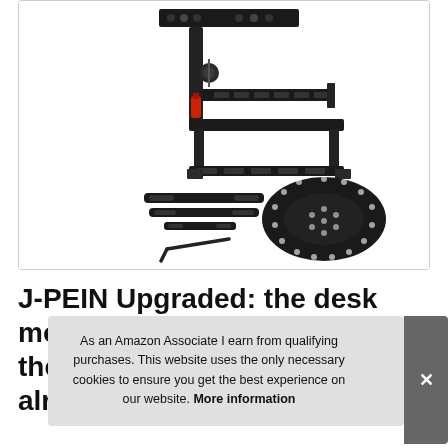[Figure (photo): Product photo of J-PEIN desk mount/steering wheel stand with black metal frame components, mounting brackets, circular base plate with holes, and hex key tool, shown on white background]
J-PEIN Upgraded: the desk mount for the ... an ... alr...
As an Amazon Associate I earn from qualifying purchases. This website uses the only necessary cookies to ensure you get the best experience on our website. More information